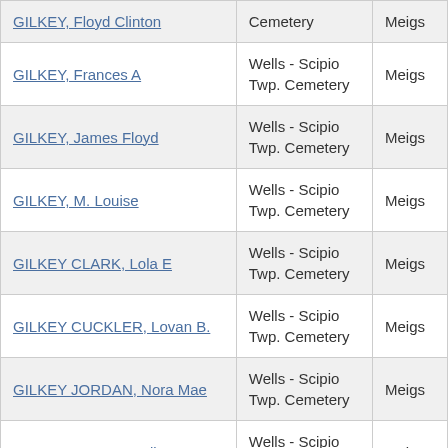| Name | Cemetery | County |
| --- | --- | --- |
| GILKEY, Floyd Clinton | Cemetery | Meigs |
| GILKEY, Frances A | Wells - Scipio Twp. Cemetery | Meigs |
| GILKEY, James Floyd | Wells - Scipio Twp. Cemetery | Meigs |
| GILKEY, M. Louise | Wells - Scipio Twp. Cemetery | Meigs |
| GILKEY CLARK, Lola E | Wells - Scipio Twp. Cemetery | Meigs |
| GILKEY CUCKLER, Lovan B. | Wells - Scipio Twp. Cemetery | Meigs |
| GILKEY JORDAN, Nora Mae | Wells - Scipio Twp. Cemetery | Meigs |
| GILKEY WHALEY, Alice | Wells - Scipio Twp. Cemetery | Meigs |
| GILKEY WOOD, Nancy | Wells - Scipio Twp. Cemetery | Meigs |
| (partial) | Wells - Scipio Twp. |  |